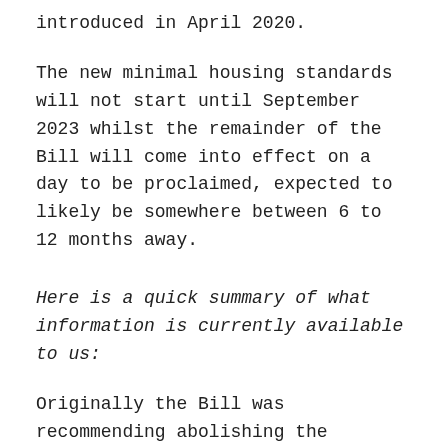introduced in April 2020.
The new minimal housing standards will not start until September 2023 whilst the remainder of the Bill will come into effect on a day to be proclaimed, expected to likely be somewhere between 6 to 12 months away.
Here is a quick summary of what information is currently available to us:
Originally the Bill was recommending abolishing the “Notice to Leave – without grounds”, effectively allowing the tenants to stay on indefinitely. What we now have instead is a set of new grounds for terminating tenancy agreements.